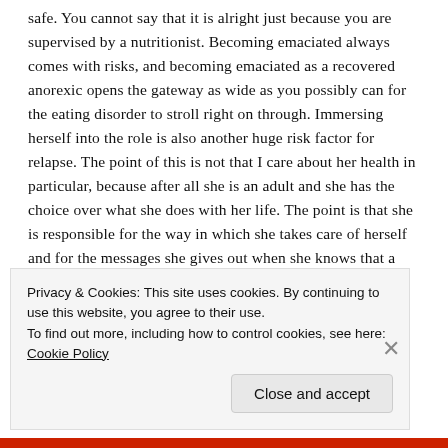safe. You cannot say that it is alright just because you are supervised by a nutritionist. Becoming emaciated always comes with risks, and becoming emaciated as a recovered anorexic opens the gateway as wide as you possibly can for the eating disorder to stroll right on through. Immersing herself into the role is also another huge risk factor for relapse. The point of this is not that I care about her health in particular, because after all she is an adult and she has the choice over what she does with her life. The point is that she is responsible for the way in which she takes care of herself and for the messages she gives out when she knows that a movie like this is going to attract a huge number of
Privacy & Cookies: This site uses cookies. By continuing to use this website, you agree to their use.
To find out more, including how to control cookies, see here: Cookie Policy
Close and accept